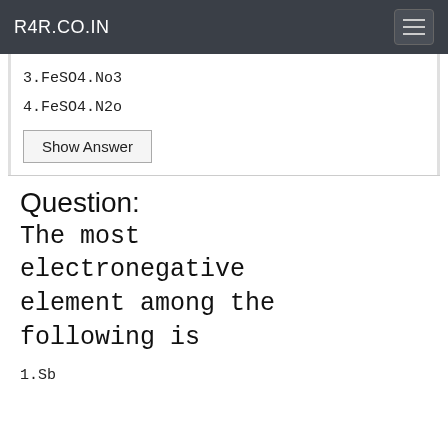R4R.CO.IN
3.FeSO4.No3
4.FeSO4.N2o
Show Answer
Question: The most electronegative element among the following is
1.Sb